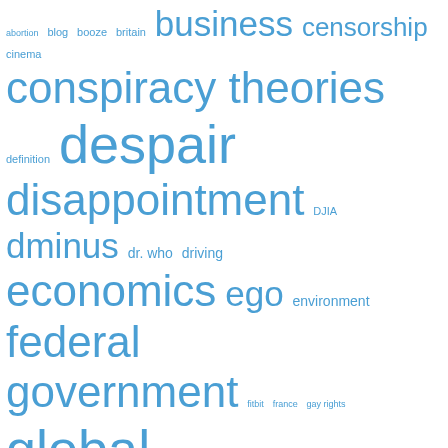[Figure (other): Tag cloud with various words in different sizes, all in blue color. Words include: abortion, blog, booze, britain, business, censorship, cinema, conspiracy theories, definition, despair, disappointment, DJIA, dminus, dr. who, driving, economics, ego, environment, federal government, fitbit, france, gay rights, global conversation, goodreads, government, gun control, hair, hope, horror, immigration, language, life, literature, minor, miracle, monsters, music, ncis, nostalgia, NSA, optimism, peepers, pessimism, propaganda, public transport, retarded, robert dunbar, robots, safety, seniors, social network, sports, sputnik, sucker, television, Texas]